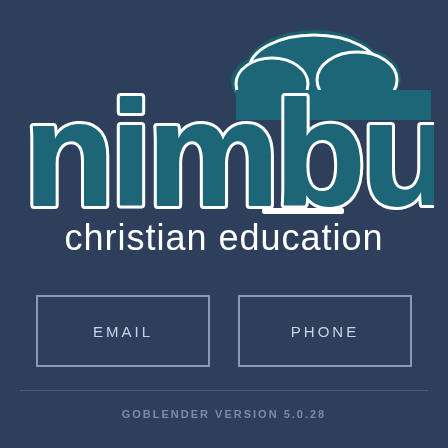[Figure (logo): Nimbus Christian Education logo with stylized 'nimbus' text in teal with white outline and a cloud shape above the letter 'b', followed by 'christian education' in white below]
EMAIL
PHONE
GOBLENDER VERSION 5.0.28